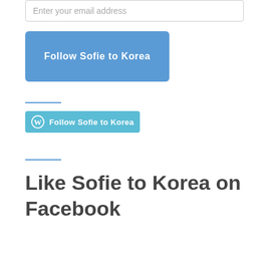Enter your email address
Follow Sofie to Korea
Follow Sofie to Korea
Like Sofie to Korea on Facebook